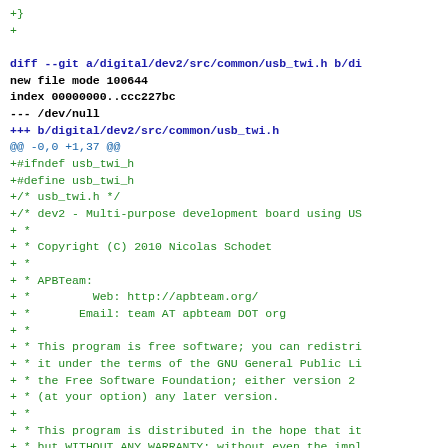+}
+

diff --git a/digital/dev2/src/common/usb_twi.h b/di
new file mode 100644
index 00000000..ccc227bc
--- /dev/null
+++ b/digital/dev2/src/common/usb_twi.h
@@ -0,0 +1,37 @@
+#ifndef usb_twi_h
+#define usb_twi_h
+/* usb_twi.h */
+/* dev2 - Multi-purpose development board using US
+ *
+ * Copyright (C) 2010 Nicolas Schodet
+ *
+ * APBTeam:
+ *         Web: http://apbteam.org/
+ *       Email: team AT apbteam DOT org
+ *
+ * This program is free software; you can redistri
+ * it under the terms of the GNU General Public Li
+ * the Free Software Foundation; either version 2
+ * (at your option) any later version.
+ *
+ * This program is distributed in the hope that it
+ * but WITHOUT ANY WARRANTY; without even the impl
+ * MERCHANTABILITY or FITNESS FOR A PARTICULAR PUR
+ * GNU General Public License for more details.
+ *